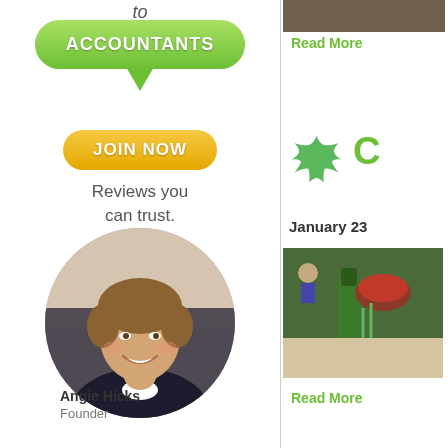to
[Figure (illustration): Green speech bubble button with white bold text 'ACCOUNTANTS']
[Figure (illustration): Orange/yellow rounded button with white bold text 'JOIN NOW']
Reviews you can trust.
[Figure (photo): Circular cropped headshot photo of Angie Hicks, smiling woman with short brown hair]
Angie Hicks
Founder
[Figure (photo): Partial photo in top right corner - cropped image]
Read More
[Figure (illustration): Green maple leaf icon]
C
January 23
[Figure (photo): Photo of food/cooking scene with green bottle and bowl]
Read More